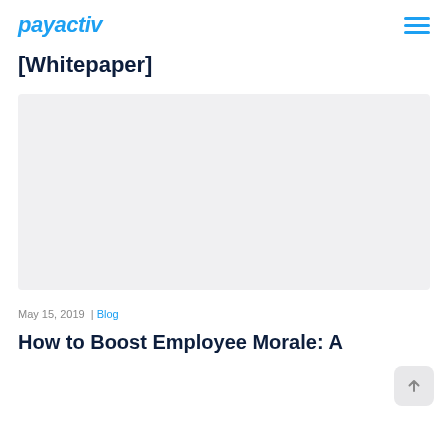payactiv
[Whitepaper]
[Figure (photo): Light gray rectangular image placeholder]
May 15, 2019 | Blog
How to Boost Employee Morale: A